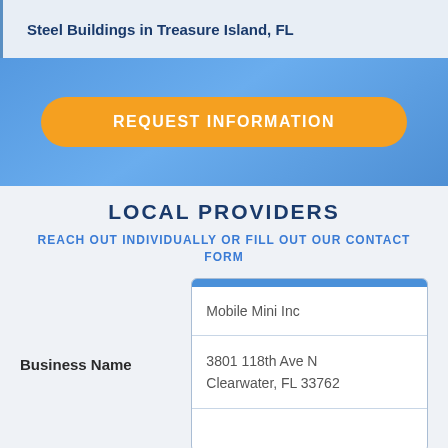Steel Buildings in Treasure Island, FL
[Figure (other): Blue gradient banner with orange REQUEST INFORMATION button]
LOCAL PROVIDERS
REACH OUT INDIVIDUALLY OR FILL OUT OUR CONTACT FORM
| Field | Value |
| --- | --- |
| Business Name | Mobile Mini Inc |
| Address | 3801 118th Ave N
Clearwater, FL 33762 |